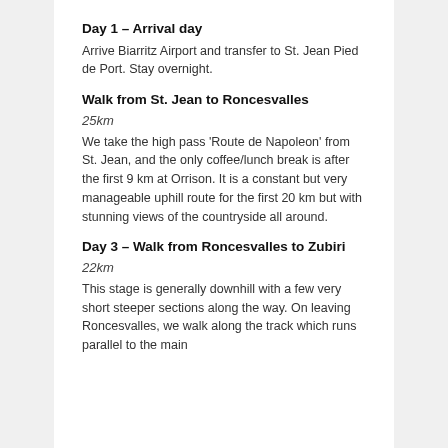Day 1 – Arrival day
Arrive Biarritz Airport and transfer to St. Jean Pied de Port.  Stay overnight.
Walk from St. Jean to Roncesvalles
25km
We take the high pass 'Route de Napoleon' from St. Jean, and the only coffee/lunch break is after the first 9 km at Orrison. It is a constant but very manageable uphill route for the first 20 km but with stunning views of the countryside all around.
Day 3 – Walk from Roncesvalles to Zubiri
22km
This stage is generally downhill with a few very short steeper sections along the way. On leaving Roncesvalles, we walk along the track which runs parallel to the main